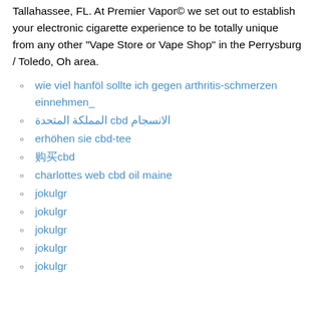Tallahassee, FL. At Premier Vapor© we set out to establish your electronic cigarette experience to be totally unique from any other “Vape Store or Vape Shop” in the Perrysburg / Toledo, Oh area.
wie viel hanföl sollte ich gegen arthritis-schmerzen einnehmen_
المملكة المتحدة cbd الانسجام
erhöhen sie cbd-tee
购买cbd
charlottes web cbd oil maine
jokulgr
jokulgr
jokulgr
jokulgr
jokulgr